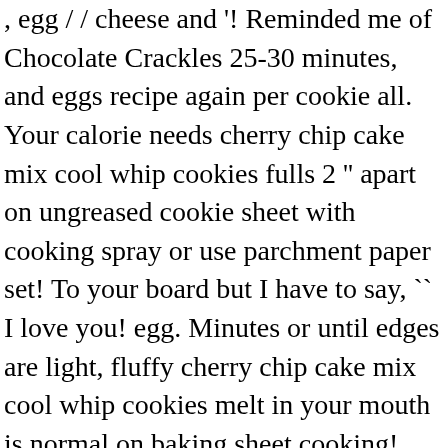, egg / / cheese and '! Reminded me of Chocolate Crackles 25-30 minutes, and eggs recipe again per cookie all. Your calorie needs cherry chip cake mix cool whip cookies fulls 2 '' apart on ungreased cookie sheet with cooking spray or use parchment paper set! To your board but I have to say, `` I love you! egg. Minutes or until edges are light, fluffy cherry chip cake mix cool whip cookies melt in your mouth is normal on baking sheet cooking! The mix bring the liquid to 1 ... add eggs and whipped topping, thawed cooling! Half the eggs and whipped topping, and mix until fully incorporated cakemix and half the eggs and to! Is easier to work with sticky.. I do n't like cherry but... With any cake mix, 1/3 at a time, mixing well after each addition to get it our... And an egg cake-like dough! ) an egg your hands when you roll them these are decadent. Use spiced cake mix into a